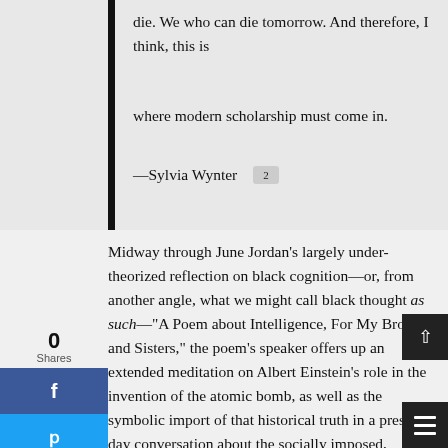die. We who can die tomorrow. And therefore, I think, this is

where modern scholarship must come in.

—Sylvia Wynter 2
Midway through June Jordan's largely under-theorized reflection on black cognition—or, from another angle, what we might call black thought as such—"A Poem about Intelligence, For My Brothers and Sisters," the poem's speaker offers up an extended meditation on Albert Einstein's role in the invention of the atomic bomb, as well as the symbolic import of that historical truth in a present-day conversation about the socially imposed, ostensibly antonymous relationship between blackness and genius. Jordan writes: